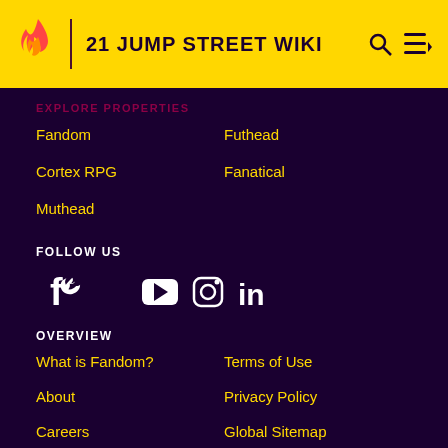21 JUMP STREET WIKI
EXPLORE PROPERTIES
Fandom
Futhead
Cortex RPG
Fanatical
Muthead
FOLLOW US
[Figure (infographic): Social media icons: Facebook, Twitter, YouTube, Instagram, LinkedIn]
OVERVIEW
What is Fandom?
Terms of Use
About
Privacy Policy
Careers
Global Sitemap